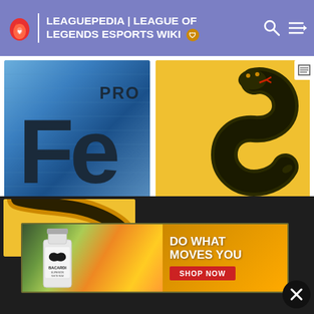LEAGUEPEDIA | LEAGUE OF LEGENDS ESPORTS WIKI
[Figure (logo): Follow eSports Logo - blue metallic background with large 'Fe' letters and 'PRO' text above]
Follow eSports Logo
[Figure (logo): Team Logo on yellow/gold circular background with black snake forming an S shape]
Team Logo
Pre-December 2017
[Figure (logo): Partial view of another snake logo on yellow background]
[Figure (other): Bacardi advertisement banner - 'DO WHAT MOVES YOU' with SHOP NOW button]
DO WHAT MOVES YOU
SHOP NOW